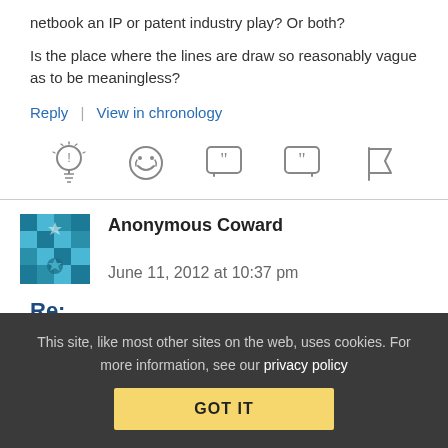netbook an IP or patent industry play? Or both?
Is the place where the lines are draw so reasonably vague as to be meaningless?
Reply | View in chronology
[Figure (infographic): Row of 5 action icons: lightbulb, smiley face, quote bubble open, quote bubble close, flag]
Anonymous Coward   June 11, 2012 at 10:37 pm
Re:
This site, like most other sites on the web, uses cookies. For more information, see our privacy policy  GOT IT